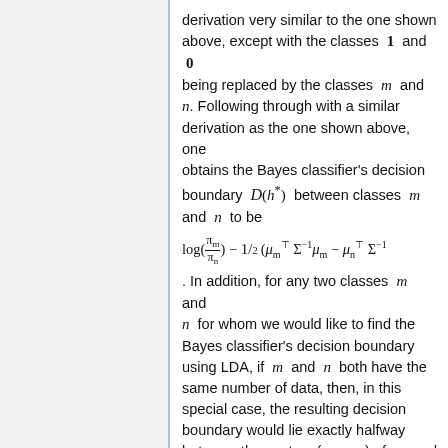derivation very similar to the one shown above, except with the classes 1 and 0 being replaced by the classes m and n. Following through with a similar derivation as the one shown above, one obtains the Bayes classifier's decision boundary D(h*) between classes m and n to be
. In addition, for any two classes m and n for whom we would like to find the Bayes classifier's decision boundary using LDA, if m and n both have the same number of data, then, in this special case, the resulting decision boundary would lie exactly halfway between the centers (means) of m and n.